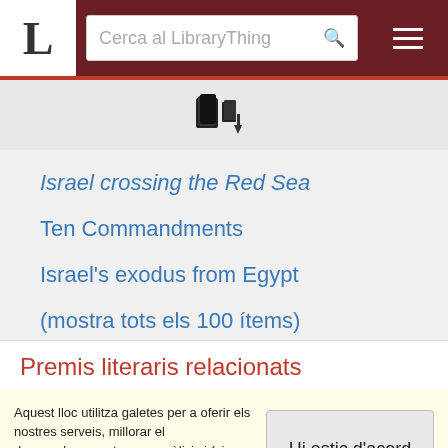LibraryThing — Cerca al LibraryThing
[Figure (illustration): LibraryThing book/arrow icon]
Israel crossing the Red Sea
Ten Commandments
Israel's exodus from Egypt
(mostra tots els 100 ítems)
Premis literaris relacionats
Aquest lloc utilitza galetes per a oferir els nostres serveis, millorar el desenvolupament, per a anàlisis i (si no has iniciat la sessió) per a publicitat. Utilitzant LibraryThing acceptes que has llegit i entès els nostres Termes de servei i política de privacitat. L'ús que facis del lloc i dels seus serveis està subjecte a aquestes polítiques i termes.